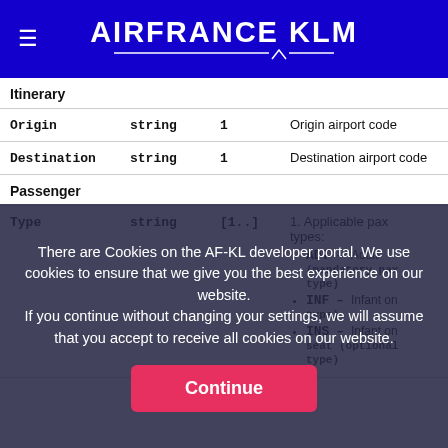AIRFRANCE KLM
| Field | Type | Card. | Description |
| --- | --- | --- | --- |
| Itinerary |  |  |  |
| Origin | string | 1 | Origin airport code |
| Destination | string | 1 | Destination airport code |
| Passenger |  |  |  |
| Type | string | [1..] | 1. Applicable pax types: • ADT – Adult (mandatory pax type) • INF – Infant on lap (optional type) • INS – Infant on seat (optional type) |
There are Cookies on the AF-KL developer portal. We use cookies to ensure that we give you the best experience on our website. If you continue without changing your settings, we will assume that you accept to receive all cookies on our website.